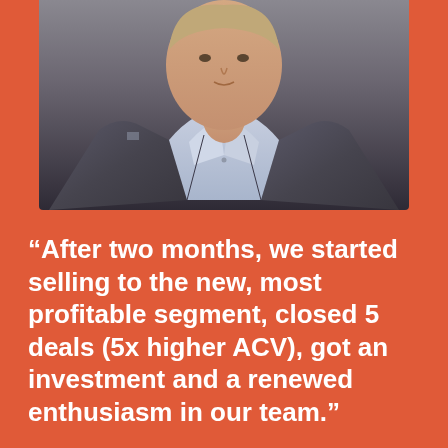[Figure (photo): Headshot/portrait of Tom Verbruggen, a man in a grey blazer and light blue shirt, photographed from the shoulders up against a dark background. The photo is cropped at the top and bottom, showing the chest and neck area.]
“After two months, we started selling to the new, most profitable segment, closed 5 deals (5x higher ACV), got an investment and a renewed enthusiasm in our team.”
Tom Verbruggen
CEO, iDronect